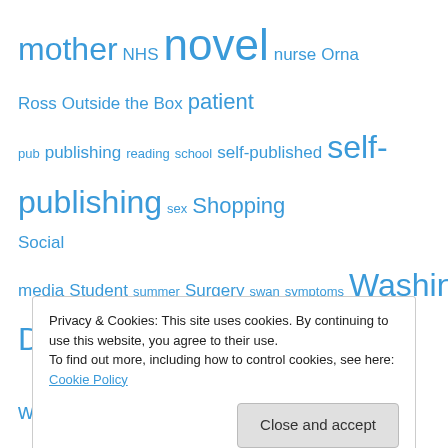mother NHS novel nurse Orna Ross Outside the Box patient pub publishing reading school self-published self-publishing sex Shopping Social media Student summer Surgery swan symptoms Washington DC writer writers writing
author member, alliance of independent authors
[Figure (logo): The Alliance of Independent Authors circular gold and green badge/seal logo]
Privacy & Cookies: This site uses cookies. By continuing to use this website, you agree to their use.
To find out more, including how to control cookies, see here: Cookie Policy
Close and accept